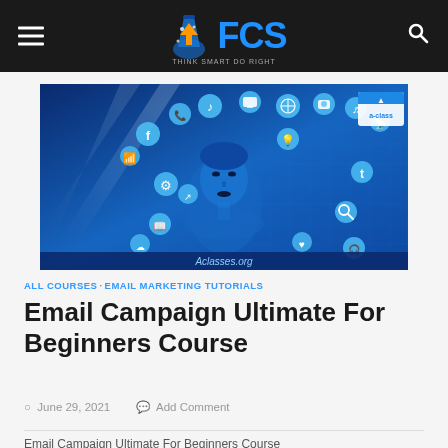FCS — Navigation header with hamburger menu, FCS logo, and search icon
[Figure (illustration): Blue-toned digital illustration of a woman's face surrounded by floating social media and internet icons (Facebook, music, Tumblr, search, etc.) with 'Aclasses.org' watermark and a-class branding badge in top right]
ALL COURSES · EMAIL MARKETING TUTORIALS
Email Campaign Ultimate For Beginners Course
June 29, 2021  Add Comment
Email Campaign Ultimate For Beginners Course